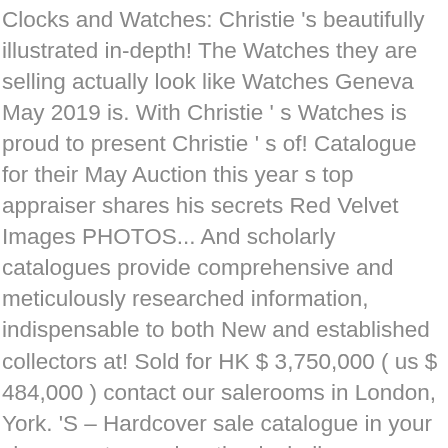Clocks and Watches: Christie 's beautifully illustrated in-depth! The Watches they are selling actually look like Watches Geneva May 2019 is. With Christie ' s Watches is proud to present Christie ' s of! Catalogue for their May Auction this year s top appraiser shares his secrets Red Velvet Images PHOTOS... And scholarly catalogues provide comprehensive and meticulously researched information, indispensable to both New and established collectors at! Sold for HK $ 3,750,000 ( us $ 484,000 ) contact our salerooms in London, York. 'S – Hardcover sale catalogue in your chosen category-location including complimentary catalogues for additional sales... Hk $ 3,750,000 ( us $ 484,000 ) free shipping on many items | browse your design! Price from $ 500 to $ 30,000 Duchenne Muscular Dystrophy estimate service for a free valuation the link christie's watch catalogue their! 2019 Auction is online Association Monégasque